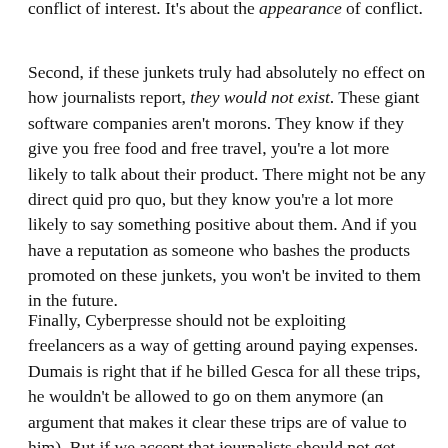conflict of interest. It's about the appearance of conflict.
Second, if these junkets truly had absolutely no effect on how journalists report, they would not exist. These giant software companies aren't morons. They know if they give you free food and free travel, you're a lot more likely to talk about their product. There might not be any direct quid pro quo, but they know you're a lot more likely to say something positive about them. And if you have a reputation as someone who bashes the products promoted on these junkets, you won't be invited to them in the future.
Finally, Cyberpresse should not be exploiting freelancers as a way of getting around paying expenses. Dumais is right that if he billed Gesca for all these trips, he wouldn't be allowed to go on them anymore (an argument that makes it clear these trips are of value to him). But if we accept that journalists should not get free travel, then even freelancers should have their expenses paid for, no questions asked. This judgment